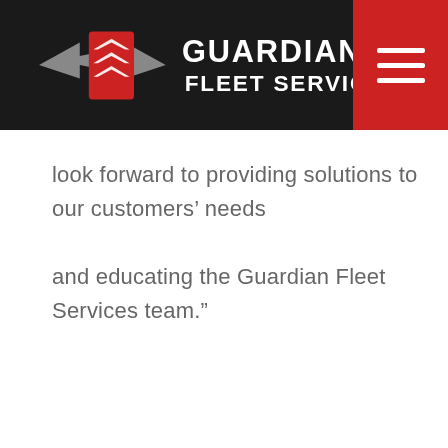Guardian Fleet Services
look forward to providing solutions to our customers’ needs and educating the Guardian Fleet Services team.”